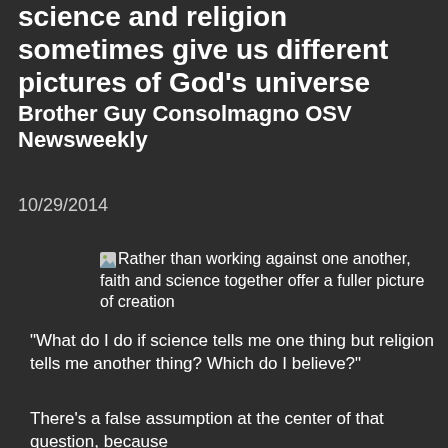science and religion sometimes give us different pictures of God's universe Brother Guy Consolmagno OSV Newsweekly
10/29/2014
Rather than working against one another, faith and science together offer a fuller picture of creation
“What do I do if science tells me one thing but religion tells me another thing? Which do I believe?”
There’s a false assumption at the center of that question, because